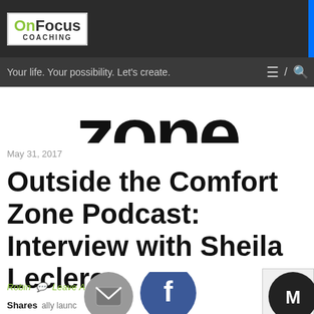OnFocus COACHING — Your life. Your possibility. Let's create.
[Figure (screenshot): Partial large decorative text letters visible, appearing to be part of a hero/banner image reading 'Zone' or similar large text]
May 31, 2017
Outside the Comfort Zone Podcast: Interview with Sheila Leclerc
Robin   Leave A Comment
Shares   ally launc   y first pod   thrilled t